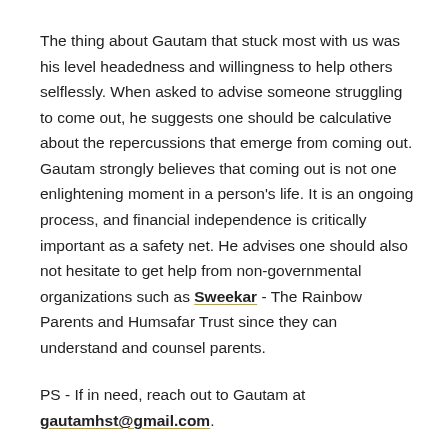The thing about Gautam that stuck most with us was his level headedness and willingness to help others selflessly. When asked to advise someone struggling to come out, he suggests one should be calculative about the repercussions that emerge from coming out. Gautam strongly believes that coming out is not one enlightening moment in a person's life. It is an ongoing process, and financial independence is critically important as a safety net. He advises one should also not hesitate to get help from non-governmental organizations such as Sweekar - The Rainbow Parents and Humsafar Trust since they can understand and counsel parents.
PS - If in need, reach out to Gautam at gautamhst@gmail.com.